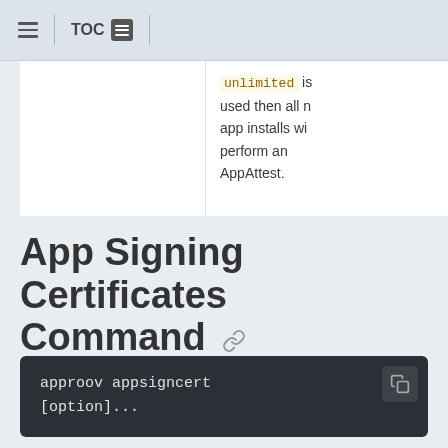TOC
unlimited is used then all app installs will perform an AppAttest.
App Signing Certificates Command
approov appsigncert [option]...